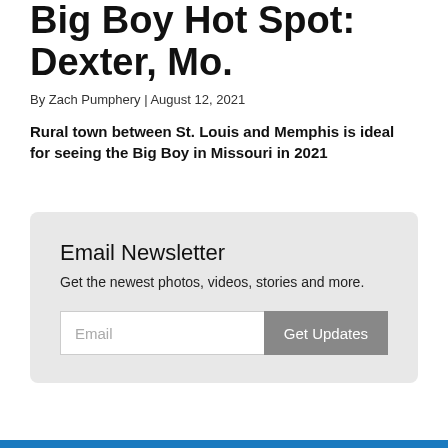Big Boy Hot Spot: Dexter, Mo.
By Zach Pumphery | August 12, 2021
Rural town between St. Louis and Memphis is ideal for seeing the Big Boy in Missouri in 2021
Email Newsletter
Get the newest photos, videos, stories and more.
Email  Get Updates